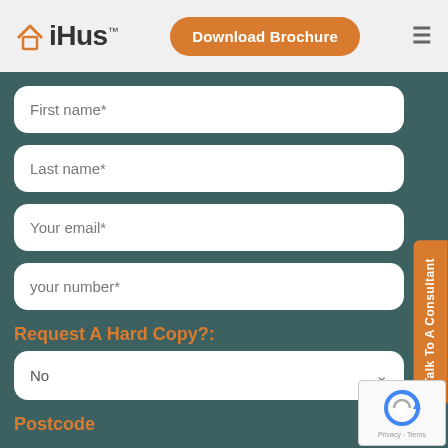[Figure (logo): iHus brand logo with orange house icon and bold iHus text with TM mark]
Download Brochure
First name*
Last name*
Your email*
your number*
Request A Hard Copy?:
No
Postcode
Talk To A Consultant
[Figure (logo): Google reCAPTCHA widget with circular arrow logo and Privacy - Terms text]